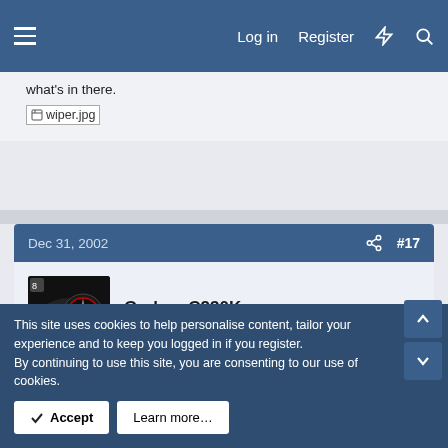Log in  Register
what's in there.
[wiper.jpg]
Dec 31, 2002  #17
GrahamC230K
MB Enthusiast
Nice one.

I am off outside now to try mine.
This site uses cookies to help personalise content, tailor your experience and to keep you logged in if you register.
By continuing to use this site, you are consenting to our use of cookies.